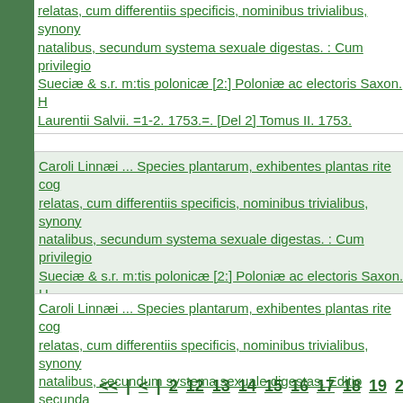relatas, cum differentiis specificis, nominibus trivialibus, synony natalibus, secundum systema sexuale digestas. : Cum privilegio Sueciae & s.r. m:tis polonicae [2:] Poloniae ac electoris Saxon. H Laurentii Salvii. =1-2. 1753.=. [Del 2] Tomus II. 1753.
Caroli Linnaei ... Species plantarum, exhibentes plantas rite cog relatas, cum differentiis specificis, nominibus trivialibus, synony natalibus, secundum systema sexuale digestas. : Cum privilegio Sueciae & s.r. m:tis polonicae [2:] Poloniae ac electoris Saxon. H Laurentii Salvii. =1-2. 1753.=. [Del 2] Tomus II. 1753.
Caroli Linnaei ... Species plantarum, exhibentes plantas rite cog relatas, cum differentiis specificis, nominibus trivialibus, synony natalibus, secundum systema sexuale digestas. Editio secunda privilegio s.r. m:tis Sveciae & s.r. m:tis polonicae ac electoris Sax impensis direct. Laurentii Salvii. T. 1
Caroli Linnaei ... Systema naturae in quo naturae regna tria, sec Classes, ordines, genera, species, systematice proponuntur. Ec auctior. Stockholmiae apud Gottfr. Kiesewetter. 1740
<< | < | 2  12  13  14  15  16  17  18  19  20  21  22  23  24  2